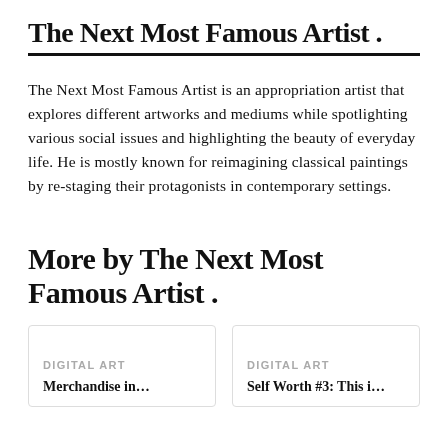The Next Most Famous Artist .
The Next Most Famous Artist is an appropriation artist that explores different artworks and mediums while spotlighting various social issues and highlighting the beauty of everyday life. He is mostly known for reimagining classical paintings by re-staging their protagonists in contemporary settings.
More by The Next Most Famous Artist .
DIGITAL ART
DIGITAL ART